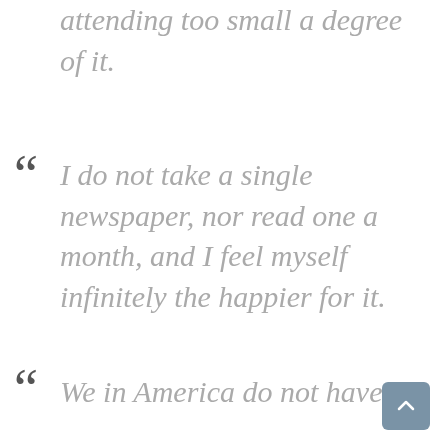attending too small a degree of it.
I do not take a single newspaper, nor read one a month, and I feel myself infinitely the happier for it.
We in America do not have